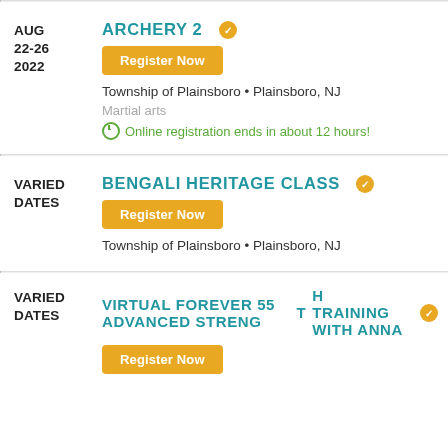AUG 22-26 2022
ARCHERY 2
Register Now
Township of Plainsboro • Plainsboro, NJ
Martial arts
Online registration ends in about 12 hours!
VARIED DATES
BENGALI HERITAGE CLASS
Register Now
Township of Plainsboro • Plainsboro, NJ
VARIED DATES
VIRTUAL FOREVER 55 ADVANCED STRENGTH TRAINING WITH ANNA
Register Now